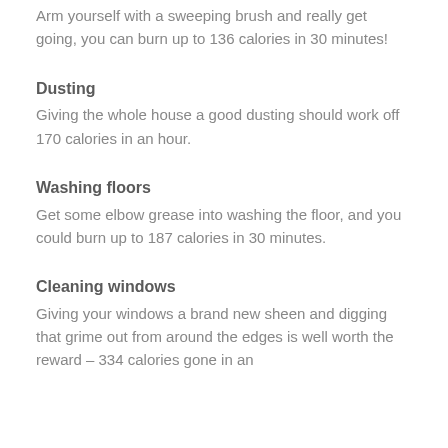Arm yourself with a sweeping brush and really get going, you can burn up to 136 calories in 30 minutes!
Dusting
Giving the whole house a good dusting should work off 170 calories in an hour.
Washing floors
Get some elbow grease into washing the floor, and you could burn up to 187 calories in 30 minutes.
Cleaning windows
Giving your windows a brand new sheen and digging that grime out from around the edges is well worth the reward – 334 calories gone in an